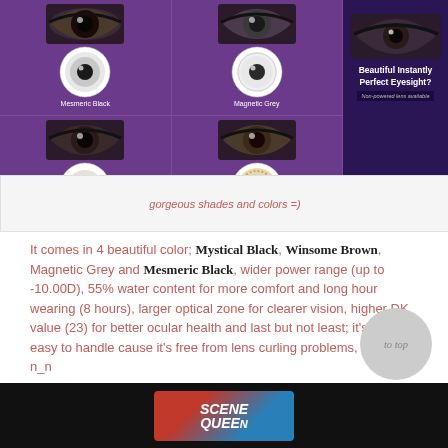[Figure (photo): Purple background product photo showing four contact lens styles: Mesmeric Black, Magnetic Grey, Mystical Black, Winsome Brown, each with eye model and lens close-up. Right side panel reads 'Beautiful Instantly Perfect Eyesight? Non-powered lens available']
gorgeous shades and colors =)
It comes in 4 beautiful color; Mystical Black, Winsome Brown, Magnetic Grey and Mesmeric Black, wider power range (up to -10.00D), 55% water content for more comfort and long hour wearing (8 hours), larger optical zone for clearer vision, higher DK value (23) for better ocular health and last but not least; it's very2 easy to handle cause it's free from lens curling problems, yeay!!! n_n
[Figure (photo): Bottom portion of a dark/black background photo showing the Scene Queen contact lens packaging box partially visible]